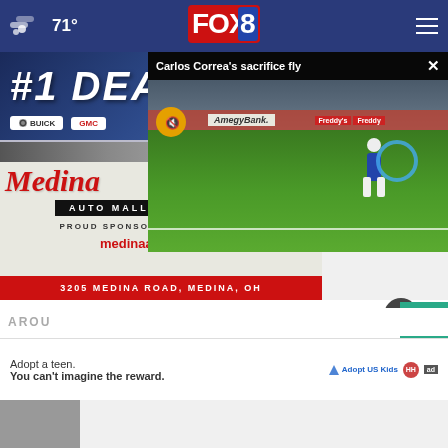FOX 8 — 71°
[Figure (screenshot): FOX 8 news website screenshot showing navigation bar with weather (71°), FOX 8 logo, and hamburger menu]
[Figure (screenshot): Medina Auto Mall advertisement banner: #1 DEA... with Buick GMC logos, CLICK HERE button, Medina Auto Mall script logo, PROUD SPONSOR OF FOX 8 SPORTS, medinaautomall.net, 3205 MEDINA ROAD, MEDINA, OH]
[Figure (screenshot): Video popup overlay showing Carlos Correa's sacrifice fly - baseball game footage with mute button and AmegyBank banner]
AROUND THE WEB
[Figure (screenshot): Bottom ad: Adopt a teen. You can't imagine the reward. — Adopt US Kids ad with HHS and ad badge logos]